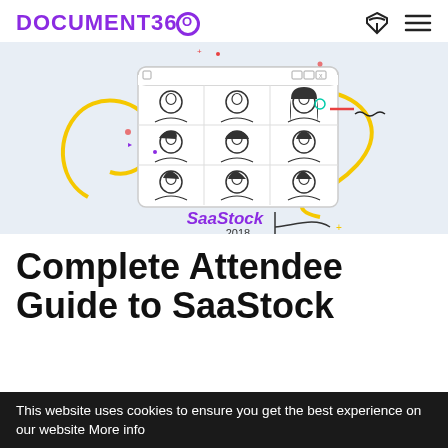DOCUMENT360
[Figure (illustration): Illustration of a video call window showing 9 silhouetted attendees in a 3x3 grid, with decorative yellow curved lines, colored dots, and squiggles around the frame. Below the window is the text 'SaaStock 2018' in purple and black.]
Complete Attendee Guide to SaaStock
This website uses cookies to ensure you get the best experience on our website More info